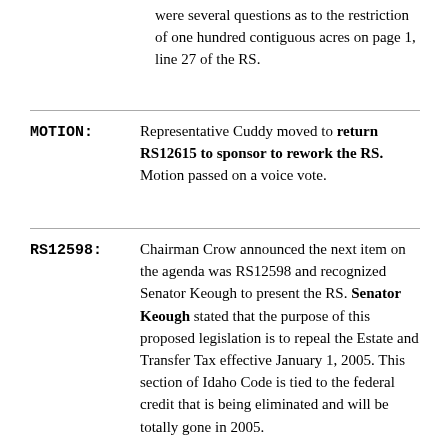were several questions as to the restriction of one hundred contiguous acres on page 1, line 27 of the RS.
MOTION: Representative Cuddy moved to return RS12615 to sponsor to rework the RS. Motion passed on a voice vote.
RS12598: Chairman Crow announced the next item on the agenda was RS12598 and recognized Senator Keough to present the RS. Senator Keough stated that the purpose of this proposed legislation is to repeal the Estate and Transfer Tax effective January 1, 2005. This section of Idaho Code is tied to the federal credit that is being eliminated and will be totally gone in 2005.